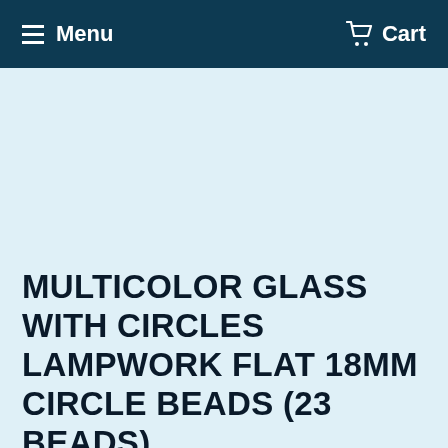Menu  Cart
MULTICOLOR GLASS WITH CIRCLES LAMPWORK FLAT 18MM CIRCLE BEADS (23 BEADS)
$6.00  SAVE $13